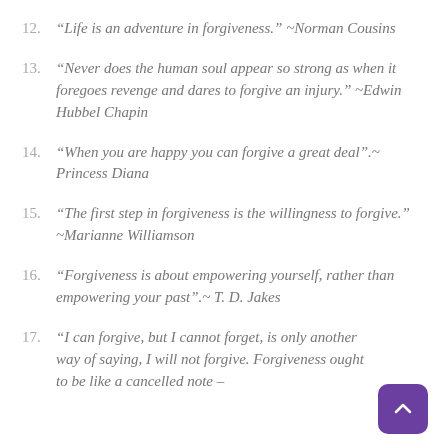12. “Life is an adventure in forgiveness.” ~Norman Cousins
13. “Never does the human soul appear so strong as when it foregoes revenge and dares to forgive an injury.” ~Edwin Hubbel Chapin
14. “When you are happy you can forgive a great deal”.~ Princess Diana
15. “The first step in forgiveness is the willingness to forgive.” ~Marianne Williamson
16. “Forgiveness is about empowering yourself, rather than empowering your past”.~ T. D. Jakes
17. “I can forgive, but I cannot forget, is only another way of saying, I will not forgive. Forgiveness ought to be like a cancelled note –